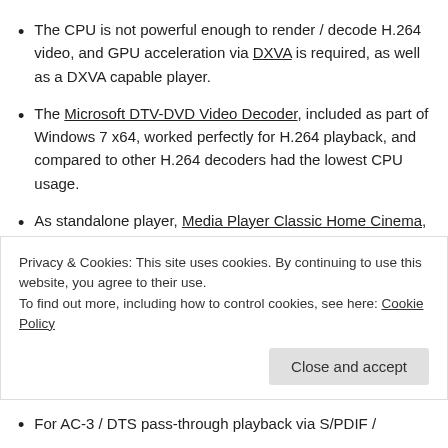The CPU is not powerful enough to render / decode H.264 video, and GPU acceleration via DXVA is required, as well as a DXVA capable player.
The Microsoft DTV-DVD Video Decoder, included as part of Windows 7 x64, worked perfectly for H.264 playback, and compared to other H.264 decoders had the lowest CPU usage.
As standalone player, Media Player Classic Home Cinema, is a perfect choice, it supports MKV, H.264, DXVA, and subtitles without the need of
Privacy & Cookies: This site uses cookies. By continuing to use this website, you agree to their use.
To find out more, including how to control cookies, see here: Cookie Policy
For AC-3 / DTS pass-through playback via S/PDIF /